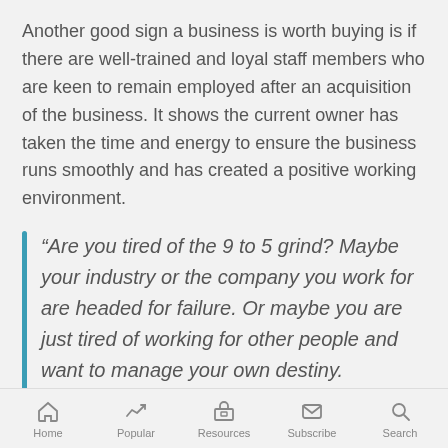Another good sign a business is worth buying is if there are well-trained and loyal staff members who are keen to remain employed after an acquisition of the business. It shows the current owner has taken the time and energy to ensure the business runs smoothly and has created a positive working environment.
“Are you tired of the 9 to 5 grind? Maybe your industry or the company you work for are headed for failure. Or maybe you are just tired of working for other people and want to manage your own destiny. Whatever your reasons for thinking about making a drastic
Home   Popular   Resources   Subscribe   Search